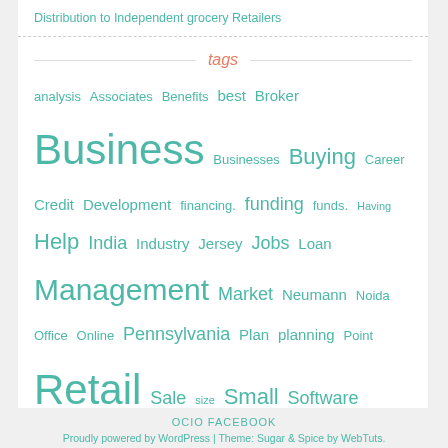Distribution to Independent grocery Retailers
tags
analysis Associates Benefits best Broker Business Businesses Buying Career Credit Development financing. funding funds. Having Help India Industry Jersey Jobs Loan Management Market Neumann Noida Office Online Pennsylvania Plan planning Point Retail Sale size Small Software Space Start startup Store Stores Successful Tips Valuations Virtuous
OCIO FACEBOOK
Proudly powered by WordPress | Theme: Sugar & Spice by WebTuts.